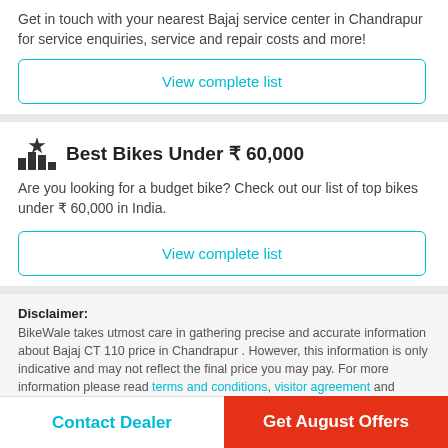Get in touch with your nearest Bajaj service center in Chandrapur for service enquiries, service and repair costs and more!
View complete list
Best Bikes Under ₹ 60,000
Are you looking for a budget bike? Check out our list of top bikes under ₹ 60,000 in India.
View complete list
Disclaimer: BikeWale takes utmost care in gathering precise and accurate information about Bajaj CT 110 price in Chandrapur . However, this information is only indicative and may not reflect the final price you may pay. For more information please read terms and conditions, visitor agreement and privacy policy
Contact Dealer
Get August Offers